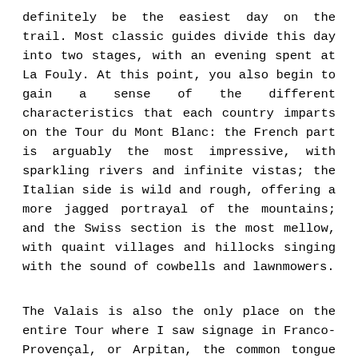definitely be the easiest day on the trail. Most classic guides divide this day into two stages, with an evening spent at La Fouly. At this point, you also begin to gain a sense of the different characteristics that each country imparts on the Tour du Mont Blanc: the French part is arguably the most impressive, with sparkling rivers and infinite vistas; the Italian side is wild and rough, offering a more jagged portrayal of the mountains; and the Swiss section is the most mellow, with quaint villages and hillocks singing with the sound of cowbells and lawnmowers.
The Valais is also the only place on the entire Tour where I saw signage in Franco-Provençal, or Arpitan, the common tongue spoken in the valleys around Mont Blanc before the institutionalization